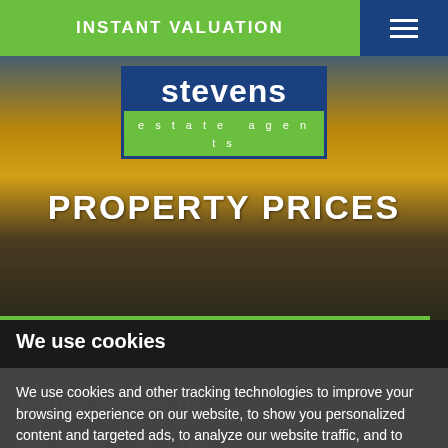INSTANT VALUATION
[Figure (logo): Stevens Estate Agents logo with blue background top section showing 'stevens' in white and green bottom section showing 'estate agents' in white letters]
PROPERTY PRICES
We use cookies
We use cookies and other tracking technologies to improve your browsing experience on our website, to show you personalized content and targeted ads, to analyze our website traffic, and to understand where our visitors are coming from.
House Prices in Yorkshire & The Humber